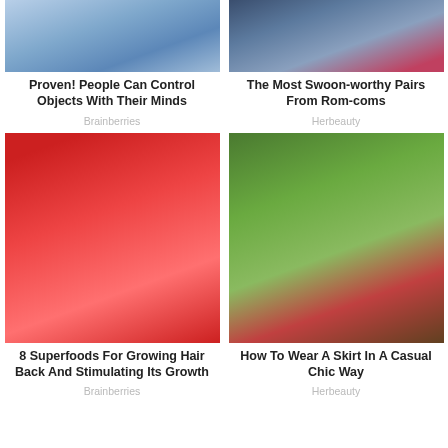[Figure (photo): Person in blue checkered shirt with hand raised, blurred background]
Proven! People Can Control Objects With Their Minds
Brainberries
[Figure (photo): People sitting on a couch in casual setting]
The Most Swoon-worthy Pairs From Rom-coms
Herbeauty
[Figure (photo): Cross-section of a red bell pepper or tomato showing internal cavity]
8 Superfoods For Growing Hair Back And Stimulating Its Growth
Brainberries
[Figure (photo): Two people lying on grass in plaid clothing in a meadow with flowers]
How To Wear A Skirt In A Casual Chic Way
Herbeauty